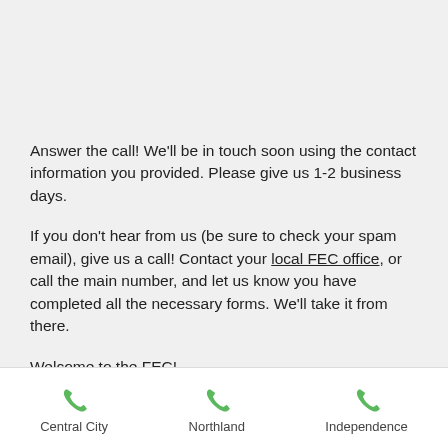Answer the call! We'll be in touch soon using the contact information you provided. Please give us 1-2 business days.
If you don't hear from us (be sure to check your spam email), give us a call! Contact your local FEC office, or call the main number, and let us know you have completed all the necessary forms. We'll take it from there.
Welcome to the FEC!
CENTRAL CITY OFFICE
Currently serving
Kansas City and Cass County
1740 Paseo Blvd
Central City   Northland   Independence